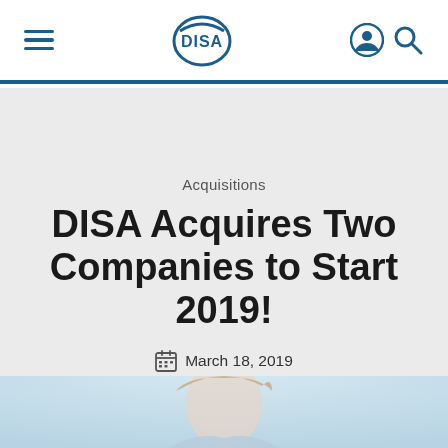DISA navigation bar with hamburger menu, DISA logo, account and search icons
Acquisitions
DISA Acquires Two Companies to Start 2019!
March 18, 2019
[Figure (photo): Partial photo of a woman with light background, cropped at bottom of page]